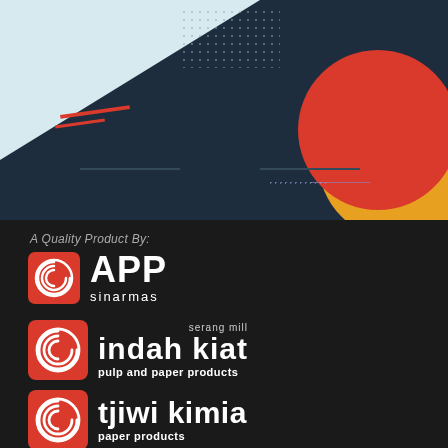[Figure (illustration): Decorative header with dark navy background, light blue triangle in top-left corner, red and orange overlapping circles in top-right corner, red diagonal lines, dot pattern, and subtle horizontal lines.]
A Quality Product By:
[Figure (logo): APP Sinarmas logo: red rounded square with white spiral swirl icon, followed by large bold white text 'APP' and smaller white text 'sinarmas']
[Figure (logo): Indah Kiat logo: red rounded square with white spiral swirl icon, with 'serang mill' label above, large bold white text 'indah kiat' and white text 'pulp and paper products']
[Figure (logo): Tjiwi Kimia logo: red rounded square with white spiral swirl icon, large bold white text 'tjiwi kimia' and white text 'paper products']